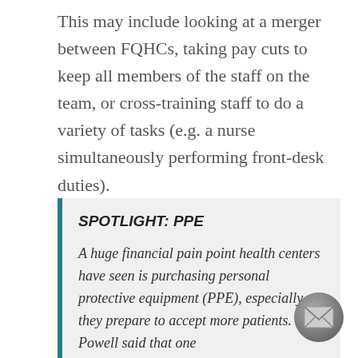This may include looking at a merger between FQHCs, taking pay cuts to keep all members of the staff on the team, or cross-training staff to do a variety of tasks (e.g. a nurse simultaneously performing front-desk duties).
SPOTLIGHT: PPE
A huge financial pain point health centers have seen is purchasing personal protective equipment (PPE), especially as they prepare to accept more patients. Powell said that one